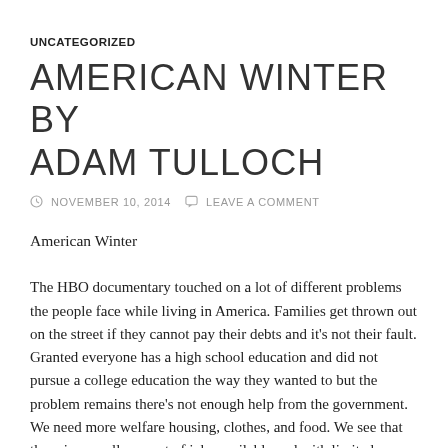UNCATEGORIZED
AMERICAN WINTER BY ADAM TULLOCH
NOVEMBER 10, 2014   LEAVE A COMMENT
American Winter
The HBO documentary touched on a lot of different problems the people face while living in America. Families get thrown out on the street if they cannot pay their debts and it's not their fault. Granted everyone has a high school education and did not pursue a college education the way they wanted to but the problem remains there's not enough help from the government. We need more welfare housing, clothes, and food. We see that there is a small amount of jobs available and with limited number jobs families are affected and forced to live in